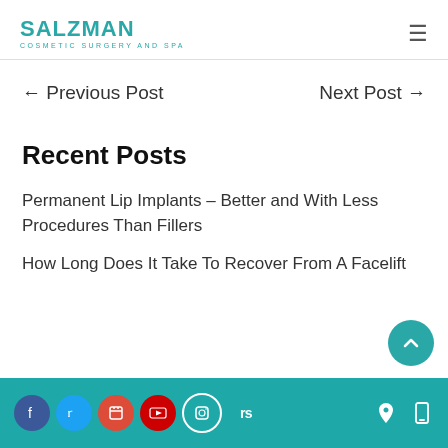SALZMAN COSMETIC SURGERY AND SPA
← Previous Post    Next Post →
Recent Posts
Permanent Lip Implants – Better and With Less Procedures Than Fillers
How Long Does It Take To Recover From A Facelift
Facebook Twitter Google+ YouTube Instagram RS [social icons] [location icon] [phone icon]